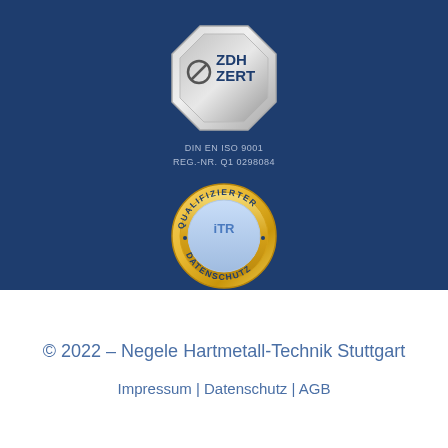[Figure (logo): ZDH ZERT octagon silver certification badge for DIN EN ISO 9001, REG.-NR. Q1 0298084]
[Figure (logo): Qualifizierter Datenschutz ITR gold circular badge]
© 2022 – Negele Hartmetall-Technik Stuttgart
Impressum | Datenschutz | AGB